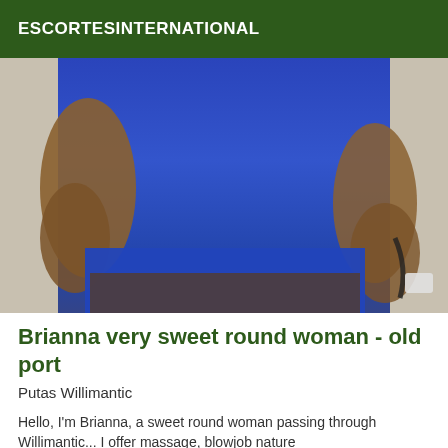ESCORTESINTERNATIONAL
[Figure (photo): Photo of a person wearing a blue outfit, shot from neck to upper thighs, hands on hips, against a light wall background.]
Brianna very sweet round woman - old port
Putas Willimantic
Hello, I'm Brianna, a sweet round woman passing through Willimantic... I offer massage, blowjob nature